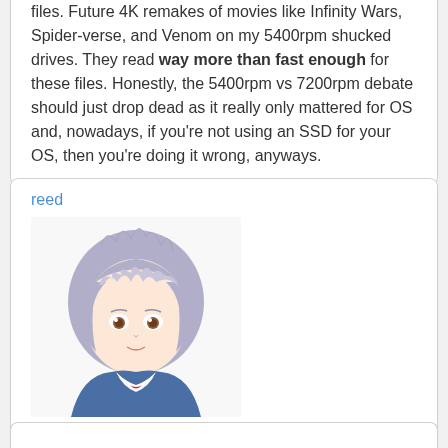files. Future 4K remakes of movies like Infinity Wars, Spider-verse, and Venom on my 5400rpm shucked drives. They read way more than fast enough for these files. Honestly, the 5400rpm vs 7200rpm debate should just drop dead as it really only mattered for OS and, nowadays, if you're not using an SSD for your OS, then you're doing it wrong, anyways.
reed
[Figure (illustration): Anime character avatar with blue-grey hair and red-brown eyes wearing a blue jacket with white collar]
3 years 4 months 3 weeks 3 days 15 hours 50 minutes 16 seconds ago
Honestly not as bad as I thought it would be. The action looks like actual trash, but I'll still enjoy the show for the characters.